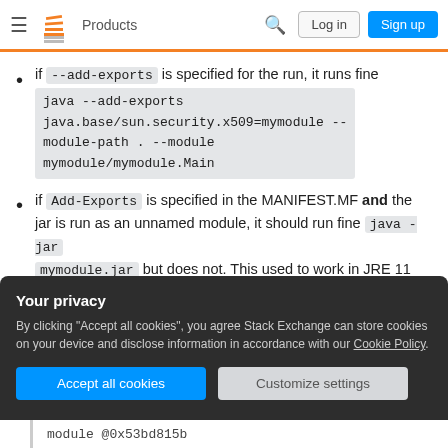Stack Overflow – Products – Log in – Sign up
if --add-exports is specified for the run, it runs fine java --add-exports java.base/sun.security.x509=mymodule --module-path . --module mymodule/mymodule.Main
if Add-Exports is specified in the MANIFEST.MF and the jar is run as an unnamed module, it should run fine java -jar mymodule.jar but does not. This used to work in JRE 11 and now fails in JRE 17 (latest at the
Your privacy
By clicking "Accept all cookies", you agree Stack Exchange can store cookies on your device and disclose information in accordance with our Cookie Policy.
[Accept all cookies] [Customize settings]
module @0x53bd815b